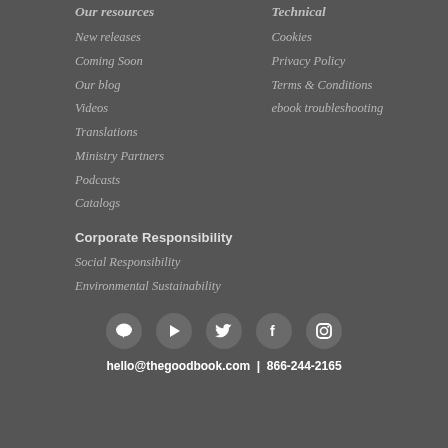Our resources
New releases
Coming Soon
Our blog
Videos
Translations
Ministry Partners
Podcasts
Catalogs
Technical
Cookies
Privacy Policy
Terms & Conditions
ebook troubleshooting
Corporate Responsibility
Social Responsibility
Environmental Sustainability
[Figure (infographic): Row of 5 social media icons: speech bubble (chat), play button (YouTube), Twitter bird, Facebook f, Instagram camera]
hello@thegoodbook.com | 866-244-2165